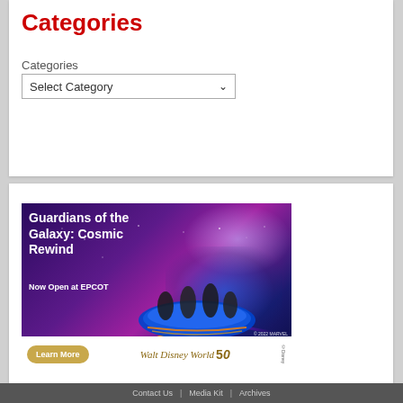Categories
Categories
Select Category
[Figure (illustration): Walt Disney World advertisement for Guardians of the Galaxy: Cosmic Rewind ride at EPCOT. Shows riders on roller coaster vehicle with purple space background and glowing light streaks. Includes 'Learn More' button and Walt Disney World Resort 50th anniversary logo. Copyright © 2022 MARVEL / © Disney]
Contact Us | Media Kit | Archives